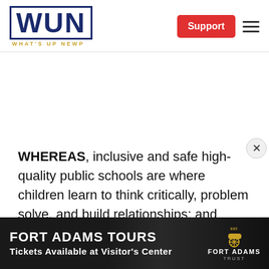[Figure (logo): WUN - What's Up Newp logo with navy blue block letters and gold tagline]
WHEREAS, inclusive and safe high-quality public schools are where children learn to think critically, problem solve, and build relationships; and
[Figure (photo): Fort Adams Tours advertisement banner - dark background with illuminated fort building, Fort Adams Trust logo with cannon emblem. Text: FORT ADAMS TOURS, Tickets Available at Visitor's Center]